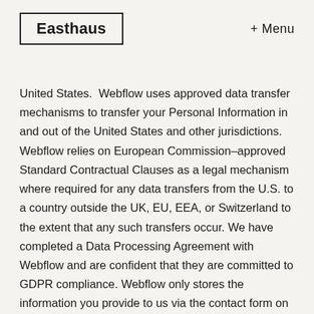Easthaus   + Menu
United States.  Webflow uses approved data transfer mechanisms to transfer your Personal Information in and out of the United States and other jurisdictions. Webflow relies on European Commission–approved Standard Contractual Clauses as a legal mechanism where required for any data transfers from the U.S. to a country outside the UK, EU, EEA, or Switzerland to the extent that any such transfers occur. We have completed a Data Processing Agreement with Webflow and are confident that they are committed to GDPR compliance. Webflow only stores the information you provide to us via the contact form on our website. You may ask for this data to be removed at any time by emailing data@easthaus.co.uk.